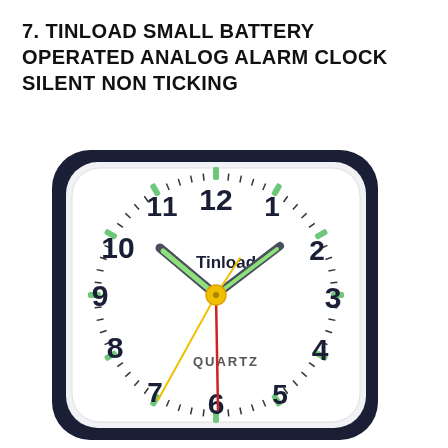7. TINLOAD SMALL BATTERY OPERATED ANALOG ALARM CLOCK SILENT NON TICKING
[Figure (photo): Photo of a Tinload small battery operated analog alarm clock with a white square face with rounded corners, dark navy/black case, showing numbers 1-12, green luminous hour and minute hands, yellow second hand, red alarm hand, yellow center cap, and text 'Tinload' and 'QUARTZ' on the face. Hands show approximately 10:10.]